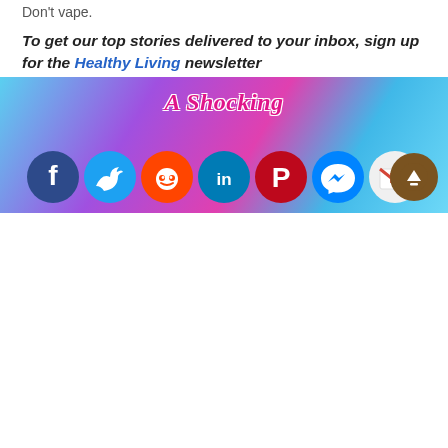Don't vape.
To get our top stories delivered to your inbox, sign up for the Healthy Living newsletter
Source link Health
Please Share This!
[Figure (infographic): Row of 10 social media sharing icons: Facebook, Twitter, Reddit, LinkedIn, Pinterest, Instagram, Gmail, Tumblr, Messenger, Share]
[Figure (infographic): Banner image with colorful background showing 'A Shocking' text and social media icons at bottom including Facebook, Twitter, Reddit, LinkedIn, Pinterest, Messenger, Gmail]